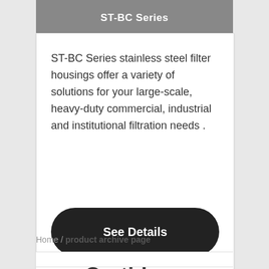[Figure (photo): ST-BC Series product image with gray background and white text label 'ST-BC Series']
ST-BC Series stainless steel filter housings offer a variety of solutions for your large-scale, heavy-duty commercial, industrial and institutional filtration needs .
See Details
Home / product archive page
Cartidges